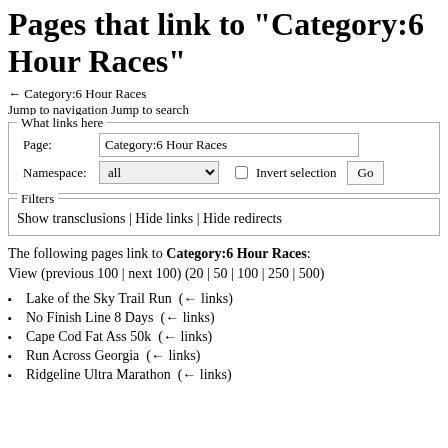Pages that link to "Category:6 Hour Races"
← Category:6 Hour Races
Jump to navigation Jump to search
What links here
Page: Category:6 Hour Races
Namespace: all  ☐ Invert selection  Go
Filters
Show transclusions | Hide links | Hide redirects
The following pages link to Category:6 Hour Races:
View (previous 100 | next 100) (20 | 50 | 100 | 250 | 500)
Lake of the Sky Trail Run  (← links)
No Finish Line 8 Days  (← links)
Cape Cod Fat Ass 50k  (← links)
Run Across Georgia  (← links)
Ridgeline Ultra Marathon  (← links)